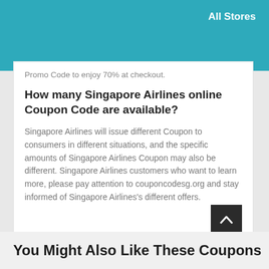All Stores
Promo Code to enjoy 70% at checkout.
How many Singapore Airlines online Coupon Code are available?
Singapore Airlines will issue different Coupon to consumers in different situations, and the specific amounts of Singapore Airlines Coupon may also be different. Singapore Airlines customers who want to learn more, please pay attention to couponcodesg.org and stay informed of Singapore Airlines's different offers.
You Might Also Like These Coupons